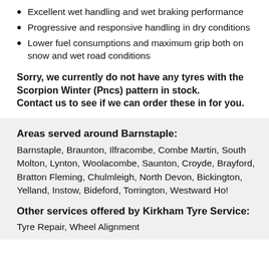Excellent wet handling and wet braking performance
Progressive and responsive handling in dry conditions
Lower fuel consumptions and maximum grip both on snow and wet road conditions
Sorry, we currently do not have any tyres with the Scorpion Winter (Pncs) pattern in stock. Contact us to see if we can order these in for you.
Areas served around Barnstaple:
Barnstaple, Braunton, Ilfracombe, Combe Martin, South Molton, Lynton, Woolacombe, Saunton, Croyde, Brayford, Bratton Fleming, Chulmleigh, North Devon, Bickington, Yelland, Instow, Bideford, Torrington, Westward Ho!
Other services offered by Kirkham Tyre Service:
Tyre Repair, Wheel Alignment